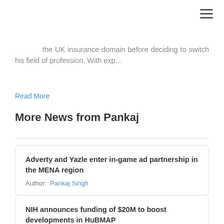≡
the UK insurance domain before deciding to switch his field of profession. With exp…
Read More
More News from Pankaj
Adverty and Yazle enter in-game ad partnership in the MENA region
Author: Pankaj Singh
NIH announces funding of $20M to boost developments in HuBMAP
Author: Pankaj Singh
TMC announces $30 Mn funding for commercial